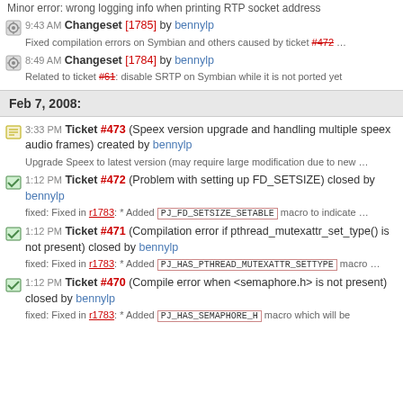Minor error: wrong logging info when printing RTP socket address
9:43 AM Changeset [1785] by bennylp — Fixed compilation errors on Symbian and others caused by ticket #472 ...
8:49 AM Changeset [1784] by bennylp — Related to ticket #61: disable SRTP on Symbian while it is not ported yet
Feb 7, 2008:
3:33 PM Ticket #473 (Speex version upgrade and handling multiple speex audio frames) created by bennylp — Upgrade Speex to latest version (may require large modification due to new ...
1:12 PM Ticket #472 (Problem with setting up FD_SETSIZE) closed by bennylp — fixed: Fixed in r1783: * Added PJ_FD_SETSIZE_SETABLE macro to indicate ...
1:12 PM Ticket #471 (Compilation error if pthread_mutexattr_set_type() is not present) closed by bennylp — fixed: Fixed in r1783: * Added PJ_HAS_PTHREAD_MUTEXATTR_SETTYPE macro ...
1:12 PM Ticket #470 (Compile error when <semaphore.h> is not present) closed by bennylp — fixed: Fixed in r1783: * Added PJ_HAS_SEMAPHORE_H macro which will be